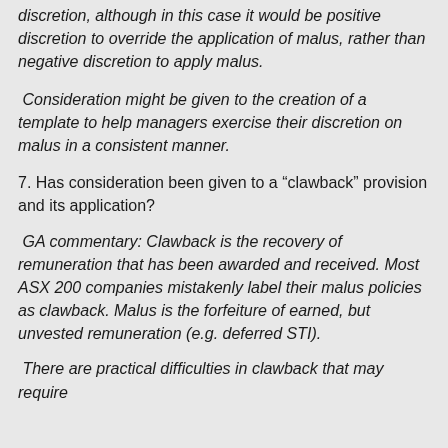discretion, although in this case it would be positive discretion to override the application of malus, rather than negative discretion to apply malus.
Consideration might be given to the creation of a template to help managers exercise their discretion on malus in a consistent manner.
7. Has consideration been given to a “clawback” provision and its application?
GA commentary: Clawback is the recovery of remuneration that has been awarded and received. Most ASX 200 companies mistakenly label their malus policies as clawback. Malus is the forfeiture of earned, but unvested remuneration (e.g. deferred STI).
There are practical difficulties in clawback that may require